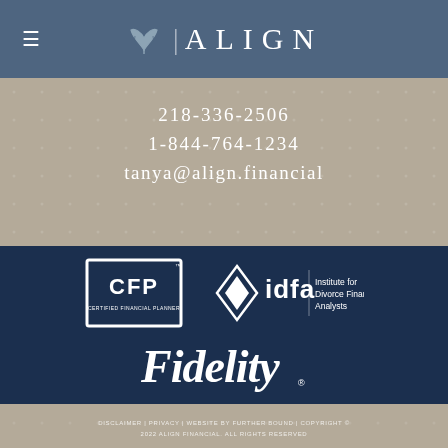ALIGN
218-336-2506
1-844-764-1234
tanya@align.financial
[Figure (logo): CFP Certified Financial Planner logo, white on dark navy background, rectangular border]
[Figure (logo): IDFA Institute for Divorce Financial Analysts logo, white diamond and text on dark navy background]
[Figure (logo): Fidelity logo in white italic bold text on dark navy background with registered trademark symbol]
DISCLAIMER | PRIVACY | WEBSITE BY FURTHER BOUND | COPYRIGHT © 2022 ALIGN FINANCIAL. ALL RIGHTS RESERVED